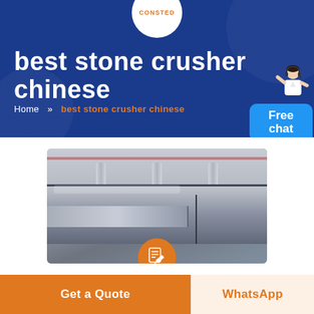CONSTED
best stone crusher chinese
Home » best stone crusher chinese
[Figure (screenshot): Customer service representative chat widget with 'Free chat' label on blue background]
[Figure (photo): Factory interior showing industrial stone crusher machinery on a production floor with high ceiling and structural pillars]
Get a Quote
WhatsApp